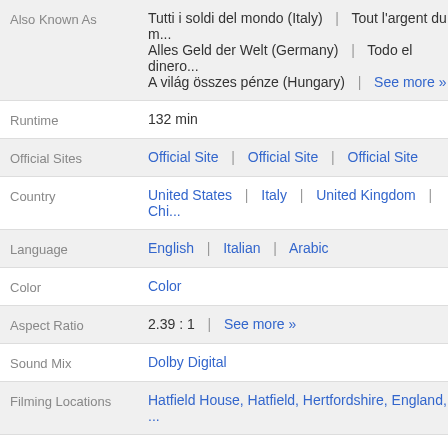| Field | Value |
| --- | --- |
| Also Known As | Tutti i soldi del mondo (Italy) | Tout l'argent du m... | Alles Geld der Welt (Germany) | Todo el dinero... | A világ összes pénze (Hungary) | See more » |
| Runtime | 132 min |
| Official Sites | Official Site | Official Site | Official Site |
| Country | United States | Italy | United Kingdom | Chi... |
| Language | English | Italian | Arabic |
| Color | Color |
| Aspect Ratio | 2.39 : 1 | See more » |
| Sound Mix | Dolby Digital |
| Filming Locations | Hatfield House, Hatfield, Hertfordshire, England, ... |
Box Office
Budget $50,000,00...